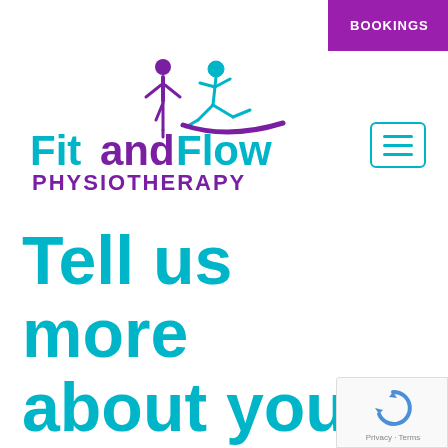[Figure (logo): Fit and Flow Physiotherapy logo with cyan and purple athletic figures and text]
BOOKINGS
Tell us more about your injury